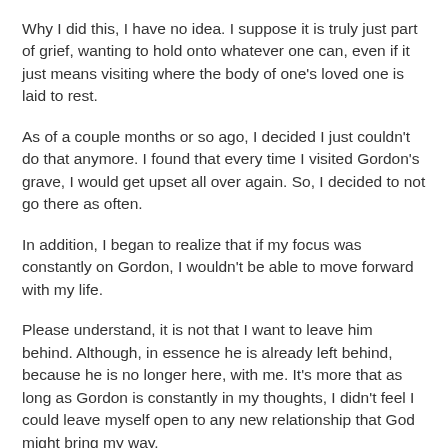Why I did this, I have no idea.  I suppose it is truly just part of grief, wanting to hold onto whatever one can, even if it just means visiting where the body of one's loved one is laid to rest.
As of a couple months or so ago, I decided I just couldn't do that anymore.  I found that every time I visited Gordon's grave, I would get upset all over again.  So, I decided to not go there as often.
In addition, I began to realize that if my focus was constantly on Gordon, I wouldn't be able to move forward with my life.
Please understand, it is not that I want to leave him behind.  Although, in essence he is already left behind, because he is no longer here, with me.  It's more that as long as Gordon is constantly in my thoughts, I didn't feel I could leave myself open to any new relationship that God might bring my way.
Of course, there's no guarantee this is God's will for my life, but I just couldn't go on the way I had been.  So, instead of visiting Gordon's grave on a regular basis, I've rarely been